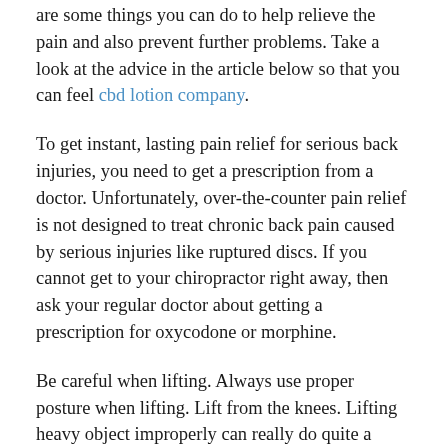are some things you can do to help relieve the pain and also prevent further problems. Take a look at the advice in the article below so that you can feel cbd lotion company.
To get instant, lasting pain relief for serious back injuries, you need to get a prescription from a doctor. Unfortunately, over-the-counter pain relief is not designed to treat chronic back pain caused by serious injuries like ruptured discs. If you cannot get to your chiropractor right away, then ask your regular doctor about getting a prescription for oxycodone or morphine.
Be careful when lifting. Always use proper posture when lifting. Lift from the knees. Lifting heavy object improperly can really do quite a number on your back. To avoid causing potentially permanent damage, use caution. If the object is too heavy to lift request assistance or use a moving dolly.
Eat nutritious food and drink lots of water about 62 ounces